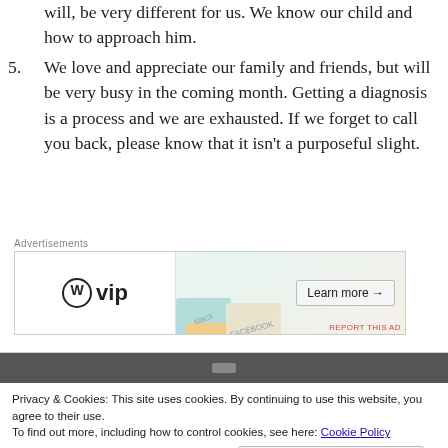will, be very different for us. We know our child and how to approach him.
5. We love and appreciate our family and friends, but will be very busy in the coming month. Getting a diagnosis is a process and we are exhausted. If we forget to call you back, please know that it isn’t a purposeful slight.
[Figure (screenshot): Advertisement banner for WordPress VIP showing logo, social platform icons (Slack, Facebook), and a Learn more button]
Privacy & Cookies: This site uses cookies. By continuing to use this website, you agree to their use.
To find out more, including how to control cookies, see here: Cookie Policy
Close and accept